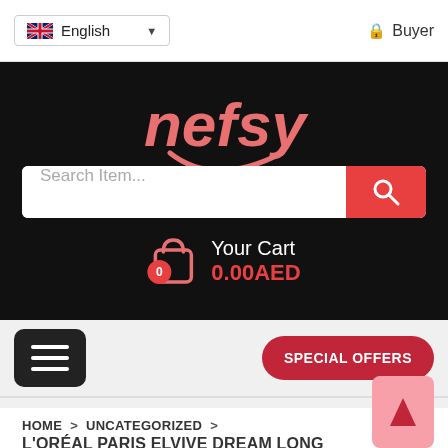English | Buyer
[Figure (logo): Nefsy logo — pink cursive text 'nefsy' with a smiley face arc on black background]
Search Item...
Your Cart 0.00AED
SPECIAL OFFERS
HOME > UNCATEGORIZED > L'ORÉAL PARIS ELVIVE DREAM LONG CONDITIONER 400ML